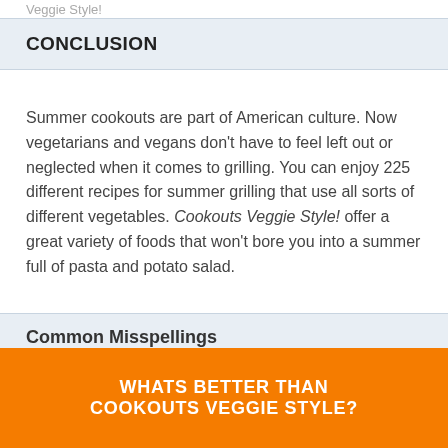Veggie Style!
CONCLUSION
Summer cookouts are part of American culture. Now vegetarians and vegans don't have to feel left out or neglected when it comes to grilling. You can enjoy 225 different recipes for summer grilling that use all sorts of different vegetables. Cookouts Veggie Style! offer a great variety of foods that won't bore you into a summer full of pasta and potato salad.
Common Misspellings
cooking out veggies, cook out veggies, cookout veggy
WHATS BETTER THAN COOKOUTS VEGGIE STYLE?